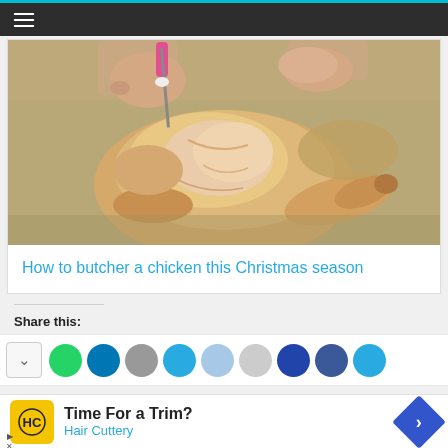Navigation bar with hamburger menu
[Figure (photo): Hands holding a raw whole chicken on a cutting board, with a pink-handled knife visible at top]
How to butcher a chicken this Christmas season
Share this:
[Figure (other): Row of social sharing icon buttons: WhatsApp (green), LinkedIn (dark blue), more (gray), Twitter/X (cyan), another (light blue), another (gray), navy, Facebook (blue), another (blue)]
[Figure (other): Advertisement banner: Hair Cuttery logo (yellow square with HC), 'Time For a Trim?' headline, 'Hair Cuttery' subtitle in blue, blue diamond navigation arrow on right]